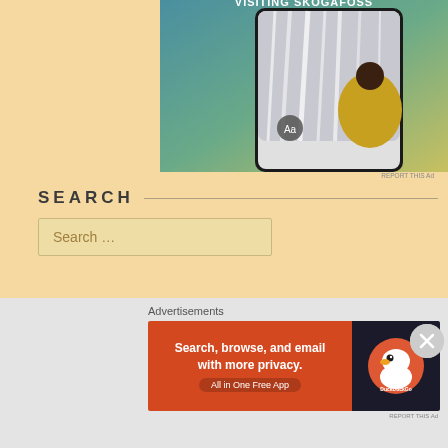[Figure (screenshot): Top advertisement showing a person looking up at Skogafoss waterfall, with text 'VISITING SKOGAFOSS' at top and a font/Aa interface button]
REPORT THIS Ad
SEARCH
Search ...
ABOUT THE PORTLY POLITICO
Tyler James Cook is The Portly Politico. Tyler is an American
Advertisements
[Figure (screenshot): DuckDuckGo advertisement banner: Search, browse, and email with more privacy. All in One Free App]
REPORT THIS Ad